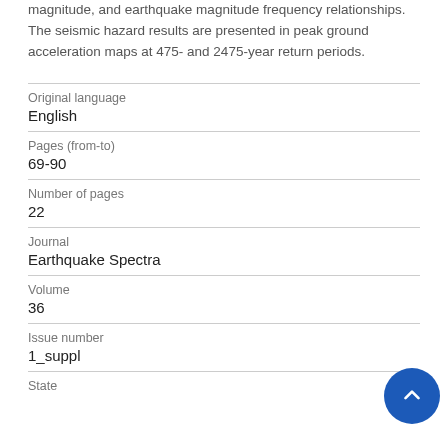magnitude, and earthquake magnitude frequency relationships. The seismic hazard results are presented in peak ground acceleration maps at 475- and 2475-year return periods.
| Original language | English |
| Pages (from-to) | 69-90 |
| Number of pages | 22 |
| Journal | Earthquake Spectra |
| Volume | 36 |
| Issue number | 1_suppl |
| State |  |